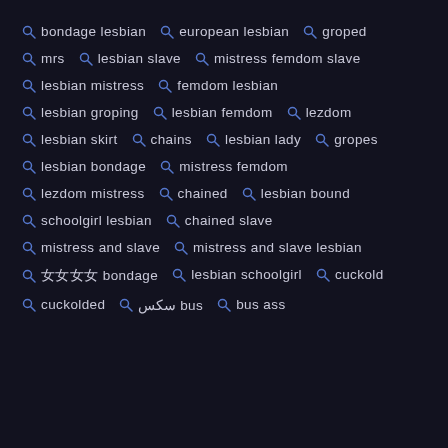bondage lesbian
european lesbian
groped
mrs
lesbian slave
mistress femdom slave
lesbian mistress
femdom lesbian
lesbian groping
lesbian femdom
lezdom
lesbian skirt
chains
lesbian lady
gropes
lesbian bondage
mistress femdom
lezdom mistress
chained
lesbian bound
schoolgirl lesbian
chained slave
mistress and slave
mistress and slave lesbian
女女女女 bondage
lesbian schoolgirl
cuckold
cuckolded
سکس bus
bus ass